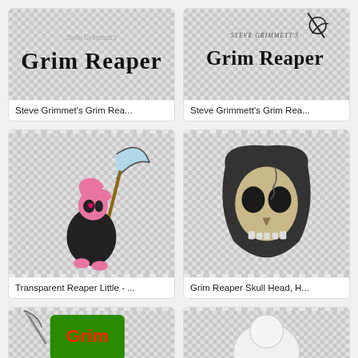[Figure (logo): Steve Grimmett's Grim Reaper band logo in black gothic lettering on checkered background]
Steve Grimmet's Grim Rea...
[Figure (logo): Steve Grimmett's Grim Reaper band logo with hooded reaper figure holding scythe, black gothic lettering on checkered background]
Steve Grimmett's Grim Rea...
[Figure (illustration): Transparent Reaper Little - cartoon pink pony character dressed as grim reaper holding scythe with black cloak on checkered background]
Transparent Reaper Little - ...
[Figure (photo): Grim Reaper skull head figurine - realistic beige skull wearing black hooded cloak on checkered background]
Grim Reaper Skull Head, H...
[Figure (illustration): Partial view of illustration on checkered background, bottom left card, partially cut off]
[Figure (illustration): Partial view of white figure on checkered background, bottom right card, partially cut off]